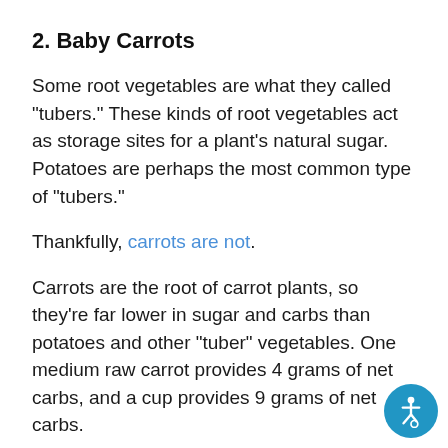2. Baby Carrots
Some root vegetables are what they called “tubers.” These kinds of root vegetables act as storage sites for a plant’s natural sugar. Potatoes are perhaps the most common type of “tubers.”
Thankfully, carrots are not.
Carrots are the root of carrot plants, so they’re far lower in sugar and carbs than potatoes and other “tuber” vegetables. One medium raw carrot provides 4 grams of net carbs, and a cup provides 9 grams of net carbs.
Carrots are not as low in carbs as leafy green